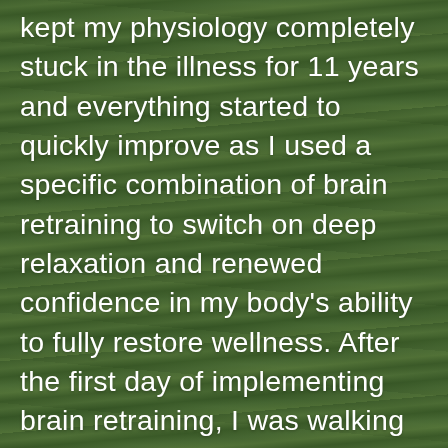kept my physiology completely stuck in the illness for 11 years and everything started to quickly improve as I used a specific combination of brain retraining to switch on deep relaxation and renewed confidence in my body's ability to fully restore wellness. After the first day of implementing brain retraining, I was walking over double my usual distance and enjoyed playing bowling that evening, already doing more than I had done